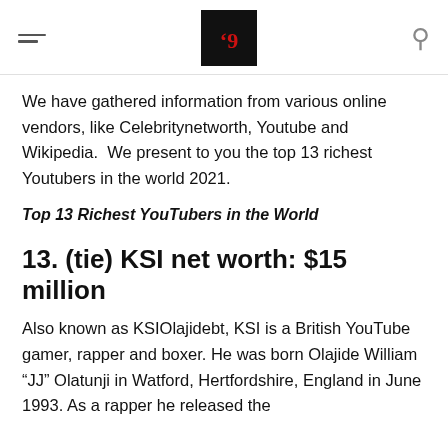[hamburger menu] [logo] [search icon]
We have gathered information from various online vendors, like Celebritynetworth, Youtube and Wikipedia.  We present to you the top 13 richest Youtubers in the world 2021.
Top 13 Richest YouTubers in the World
13. (tie) KSI net worth: $15 million
Also known as KSIOlajidebt, KSI is a British YouTube gamer, rapper and boxer. He was born Olajide William “JJ” Olatunji in Watford, Hertfordshire, England in June 1993. As a rapper he released the